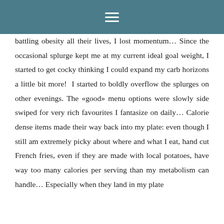≡
battling obesity all their lives, I lost momentum… Since the occasional splurge kept me at my current ideal goal weight, I started to get cocky thinking I could expand my carb horizons a little bit more!  I started to boldly overflow the splurges on other evenings. The «good» menu options were slowly side swiped for very rich favourites I fantasize on daily… Calorie dense items made their way back into my plate: even though I still am extremely picky about where and what I eat, hand cut French fries, even if they are made with local potatoes, have way too many calories per serving than my metabolism can handle… Especially when they land in my plate